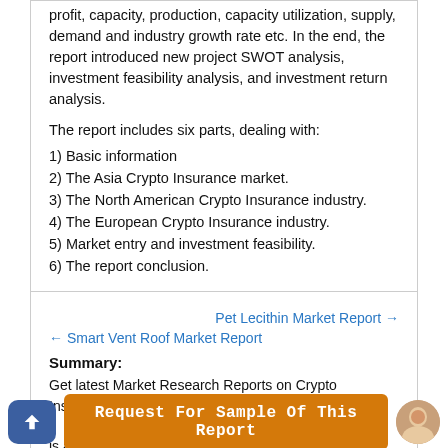profit, capacity, production, capacity utilization, supply, demand and industry growth rate etc. In the end, the report introduced new project SWOT analysis, investment feasibility analysis, and investment return analysis.
The report includes six parts, dealing with:
1) Basic information
2) The Asia Crypto Insurance market.
3) The North American Crypto Insurance industry.
4) The European Crypto Insurance industry.
5) Market entry and investment feasibility.
6) The report conclusion.
Pet Lecithin Market Report →
← Smart Vent Roof Market Report
Summary:
Get latest Market Research Reports on Crypto Insurance ... Crypto Insurance is a syndicated market report, published as Global
Request For Sample Of This Report